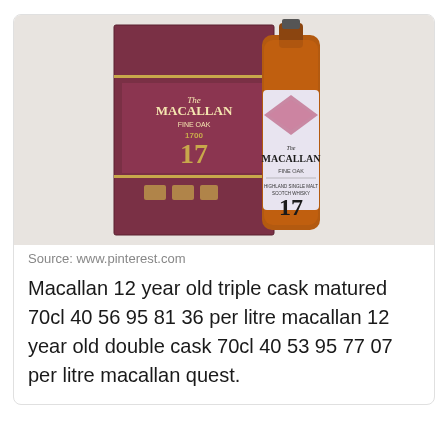[Figure (photo): Photo of The Macallan Fine Oak 17 year old Highland Single Malt Scotch Whisky bottle next to its burgundy/maroon gift box, showing the label with '17' prominently displayed]
Source: www.pinterest.com
Macallan 12 year old triple cask matured 70cl 40 56 95 81 36 per litre macallan 12 year old double cask 70cl 40 53 95 77 07 per litre macallan quest.